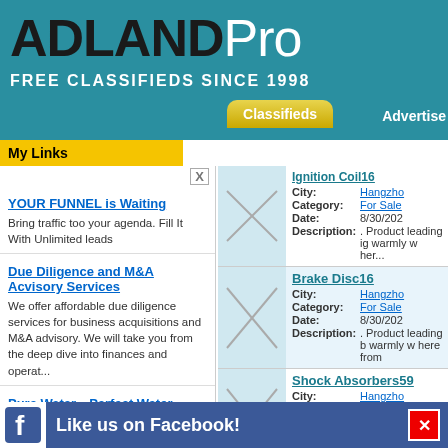ADLANDPro — FREE CLASSIFIEDS SINCE 1998
My Links
YOUR FUNNEL is Waiting — Bring traffic too your agenda. Fill It With Unlimited leads
Due Diligence and M&A Acvisory Services — We offer affordable due diligence services for business acquisitions and M&A advisory. We will take you from the deep dive into finances and operat...
Pure Water—Perfect Water Purification System! E... — Always have Pure Water free of chemicals, bacteria, and viruses all in the comfort of your homeWith a glass filtration system, there is no metallic...
Ignition Coil16 — City: Hangzho, Category: For Sale, Date: 8/30/202, Description: . Product leading ig warmly w her...
Brake Disc16 — City: Hangzho, Category: For Sale, Date: 8/30/202, Description: . Product leading b warmly w here from
Shock Absorbers59 — City: Hangzho, Category: For Sale, Date: 8/30/202, Description: . Product the leadin we warm for sa...
Brake Pads... — City: Hangzho
Like us on Facebook!